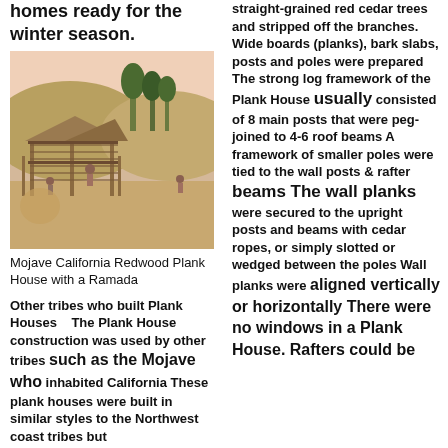homes ready for the winter season.
[Figure (illustration): Historical illustration of a Mojave California Redwood Plank House with a Ramada, showing people constructing or living around a wooden structure with trees in background.]
Mojave California Redwood Plank House with a Ramada
Other tribes who built Plank Houses  The Plank House construction was used by other tribes such as the Mojave who inhabited California These plank houses were built in similar styles to the Northwest coast tribes but
straight-grained red cedar trees and stripped off the branches. Wide boards (planks), bark slabs, posts and poles were prepared The strong log framework of the Plank House usually consisted of 8 main posts that were peg-joined to 4-6 roof beams A framework of smaller poles were tied to the wall posts & rafter beams The wall planks were secured to the upright posts and beams with cedar ropes, or simply slotted or wedged between the poles Wall planks were aligned vertically or horizontally There were no windows in a Plank House. Rafters could be